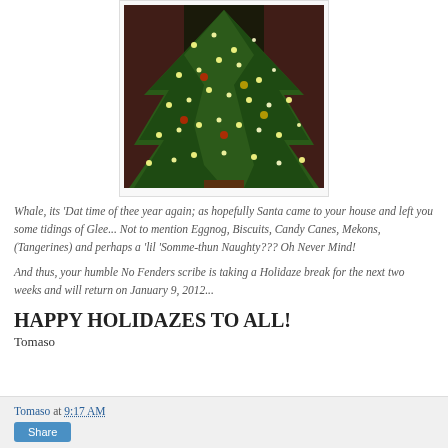[Figure (photo): A decorated Christmas tree with lights and ornaments against a dark curtain background]
Whale, its ‘Dat time of thee year again; as hopefully Santa came to your house and left you some tidings of Glee... Not to mention Eggnog, Biscuits, Candy Canes, Mekons, (Tangerines) and perhaps a ‘lil ‘Somme-thun Naughty??? Oh Never Mind!
And thus, your humble No Fenders scribe is taking a Holidaze break for the next two weeks and will return on January 9, 2012...
HAPPY HOLIDAZES TO ALL!
Tomaso
Tomaso at 9:17 AM  Share